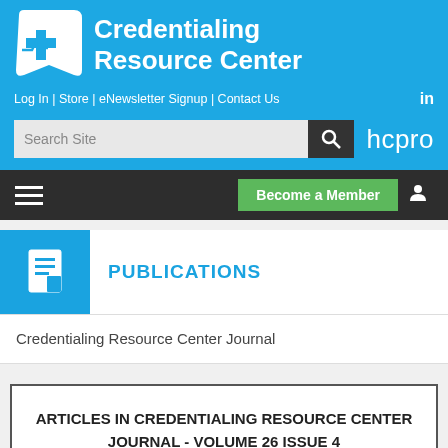[Figure (logo): Credentialing Resource Center logo with blue medical cross icon and white text on blue background]
Log In | Store | eNewsletter Signup | Contact Us   in
[Figure (screenshot): Search Site input box with magnifying glass icon and hcpro logo]
PUBLICATIONS
Credentialing Resource Center Journal
ARTICLES IN CREDENTIALING RESOURCE CENTER JOURNAL - VOLUME 26 ISSUE 4